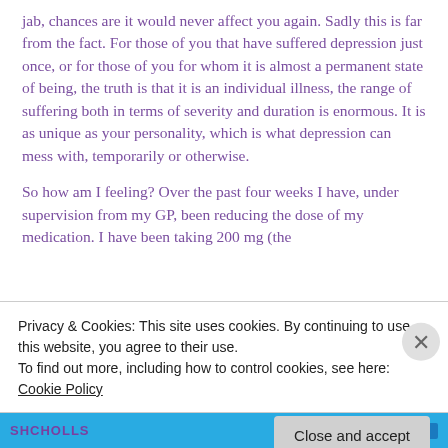jab, chances are it would never affect you again. Sadly this is far from the fact. For those of you that have suffered depression just once, or for those of you for whom it is almost a permanent state of being, the truth is that it is an individual illness, the range of suffering both in terms of severity and duration is enormous. It is as unique as your personality, which is what depression can mess with, temporarily or otherwise.
So how am I feeling? Over the past four weeks I have, under supervision from my GP, been reducing the dose of my medication. I have been taking 200 mg (the
Privacy & Cookies: This site uses cookies. By continuing to use this website, you agree to their use.
To find out more, including how to control cookies, see here: Cookie Policy